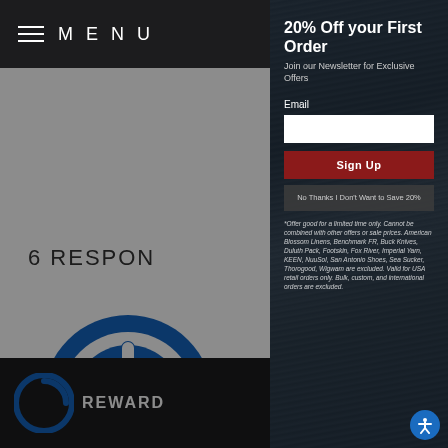MENU
6 RESPON
[Figure (logo): Blue circular power/on button icon]
20% Off your First Order
Join our Newsletter for Exclusive Offers
Email
Sign Up
No Thanks I Don't Want to Save 20%
*Offer good for a limited time only. Cannot be combined with other offers or sale prices. American Blossom Linens, Benchmark FR, Buck Knives, Duluth Pack, Footskin, Fox River, Imperial Yarn, KEEN, NuuSol, San Antonio Shoes, Sea Sucker, Thorogood, Wigwam are excluded. Valid for USA retail orders only. Bulk, custom, and international orders are excluded.
REWARD